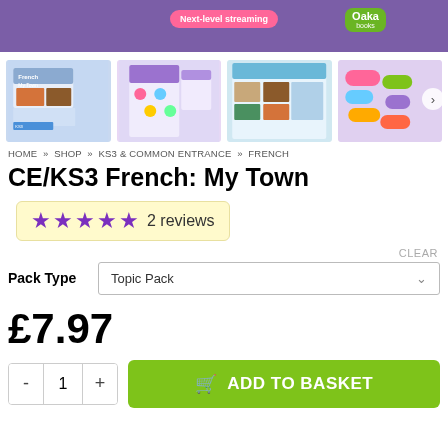[Figure (screenshot): Top purple banner with pink pill label 'Next-level streaming' and green Oaka Books logo]
[Figure (screenshot): Four product thumbnail images showing CE/KS3 French: My Town educational materials]
HOME » SHOP » KS3 & COMMON ENTRANCE » FRENCH
CE/KS3 French: My Town
★★★★★ 2 reviews
CLEAR
Pack Type   Topic Pack
£7.97
- 1 + ADD TO BASKET